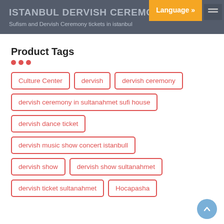ISTANBUL DERVISH CEREMONY
Sufism and Dervish Ceremony tickets in istanbul
Product Tags
Culture Center
dervish
dervish ceremony
dervish ceremony in sultanahmet sufi house
dervish dance ticket
dervish music show concert istanbull
dervish show
dervish show sultanahmet
dervish ticket sultanahmet
Hocapasha